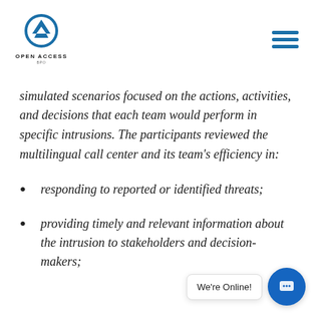Open Access BPO logo and navigation menu
simulated scenarios focused on the actions, activities, and decisions that each team would perform in specific intrusions. The participants reviewed the multilingual call center and its team's efficiency in:
responding to reported or identified threats;
providing timely and relevant information about the intrusion to stakeholders and decision-makers;